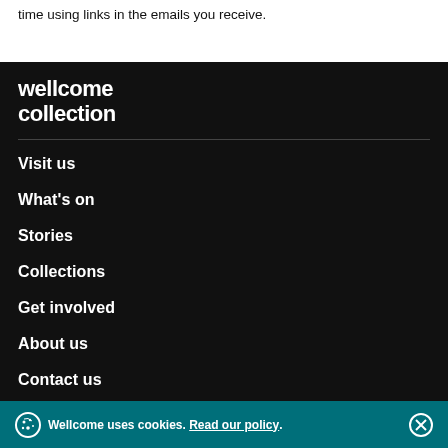time using links in the emails you receive.
[Figure (logo): Wellcome Collection logo in white bold text on dark background]
Visit us
What's on
Stories
Collections
Get involved
About us
Contact us
Wellcome uses cookies. Read our policy